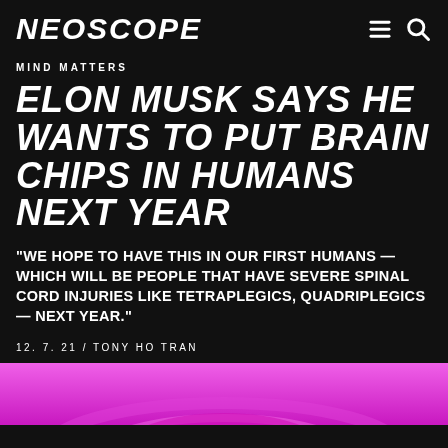NEOSCOPE
MIND MATTERS
ELON MUSK SAYS HE WANTS TO PUT BRAIN CHIPS IN HUMANS NEXT YEAR
"WE HOPE TO HAVE THIS IN OUR FIRST HUMANS — WHICH WILL BE PEOPLE THAT HAVE SEVERE SPINAL CORD INJURIES LIKE TETRAPLEGICS, QUADRIPLEGICS — NEXT YEAR."
12. 7. 21 / TONY HO TRAN
[Figure (illustration): Pink/magenta gradient image strip at the bottom showing a partial curved graphic element]